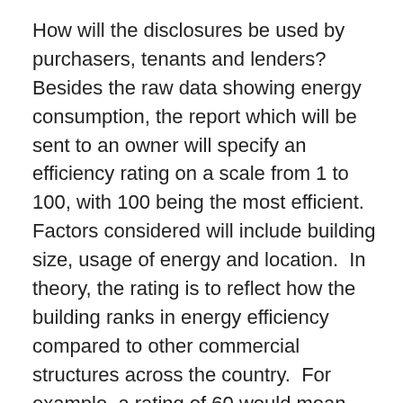How will the disclosures be used by purchasers, tenants and lenders?  Besides the raw data showing energy consumption, the report which will be sent to an owner will specify an efficiency rating on a scale from 1 to 100, with 100 being the most efficient.  Factors considered will include building size, usage of energy and location.  In theory, the rating is to reflect how the building ranks in energy efficiency compared to other commercial structures across the country.  For example, a rating of 60 would mean that the building so rated is in the 60th percentile among all buildings analyzed and a rating of 90 would put the building in the 90th percentile.
Owners should not wait until the deadlines for disclosure to open their EPA accounts because